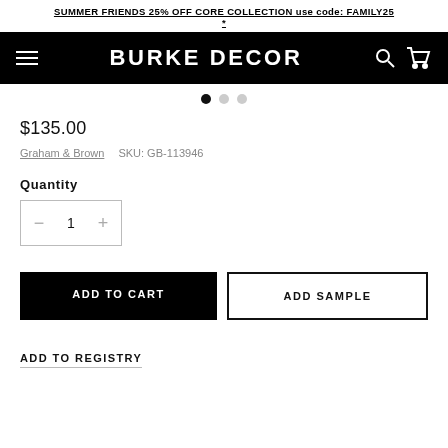SUMMER FRIENDS 25% OFF CORE COLLECTION use code: FAMILY25 *
[Figure (screenshot): Burke Decor navigation bar with hamburger menu, logo, search and cart icons on black background]
$135.00
Graham & Brown   SKU: GB-113946
Quantity
1
ADD TO CART
ADD SAMPLE
ADD TO REGISTRY